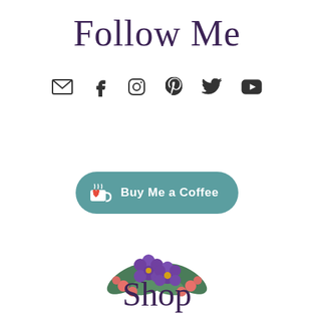Follow Me
[Figure (infographic): Row of social media icons: email/envelope, Facebook, Instagram, Pinterest, Twitter, YouTube]
[Figure (infographic): Buy Me a Coffee button with teal/muted green rounded pill shape, coffee cup icon with red heart, white bold text 'Buy Me a Coffee']
[Figure (illustration): Watercolor-style floral illustration with purple violet flowers and red/pink smaller flowers with green leaves]
Shop